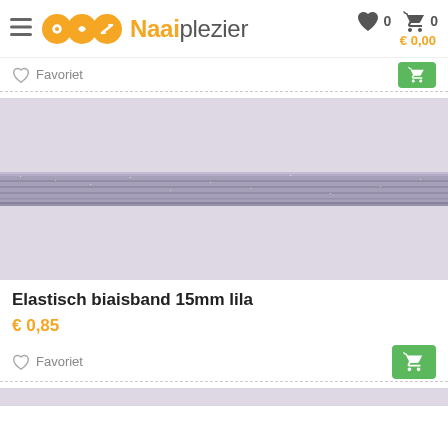Naaiplezier
Favoriet
[Figure (photo): Close-up photo of lavender/lila elastic bias tape (elastisch biaisband) approximately 15mm wide, shown horizontally across a light purple/grey background]
Elastisch biaisband 15mm lila
€ 0,85
Favoriet